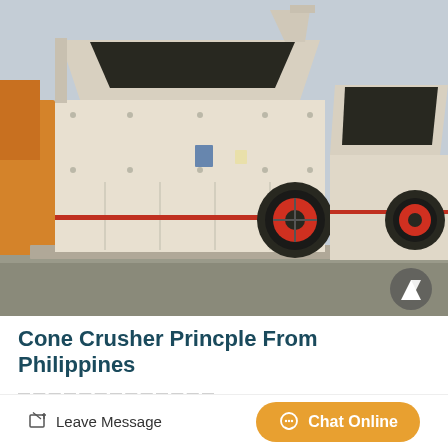[Figure (photo): Industrial impact crusher machines in cream/beige color with red accent stripe, black flywheel with red center, photographed in an industrial yard. Two large crushers visible side by side.]
Cone Crusher Princple From Philippines
...
Leave Message   Chat Online